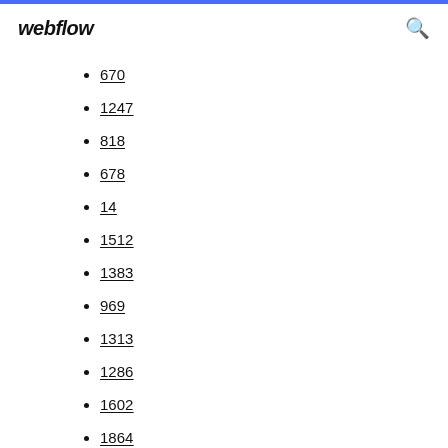webflow
670
1247
818
678
14
1512
1383
969
1313
1286
1602
1864